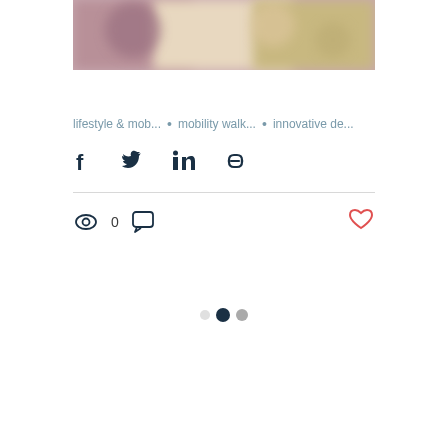[Figure (photo): Blurred lifestyle/mobility image at the top of a blog post card]
lifestyle & mob...  •  mobility walk...  •  innovative de...
[Figure (infographic): Share buttons row: Facebook, Twitter, LinkedIn, Link icons]
0 views, 0 comments, heart/like button
[Figure (infographic): Pagination dots: inactive, active (dark), gray]